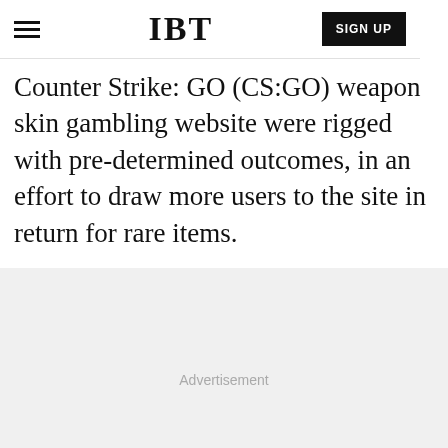IBT | SIGN UP
Counter Strike: GO (CS:GO) weapon skin gambling website were rigged with pre-determined outcomes, in an effort to draw more users to the site in return for rare items.
[Figure (other): Advertisement placeholder area with light gray background]